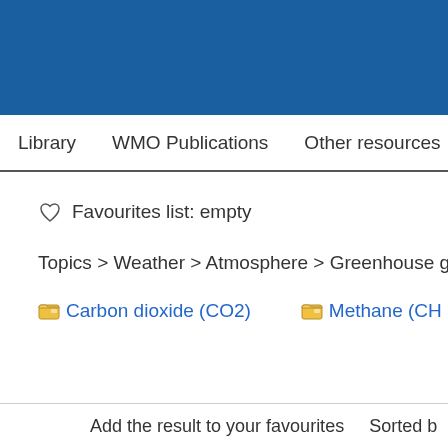[Figure (other): Blue header banner for WMO website]
Library    WMO Publications    Other resources
♡ Favourites list: empty
Topics > Weather > Atmosphere > Greenhouse gas (
📁 Carbon dioxide (CO2)    📁 Methane (CH
Add the result to your favourites    Sorted b